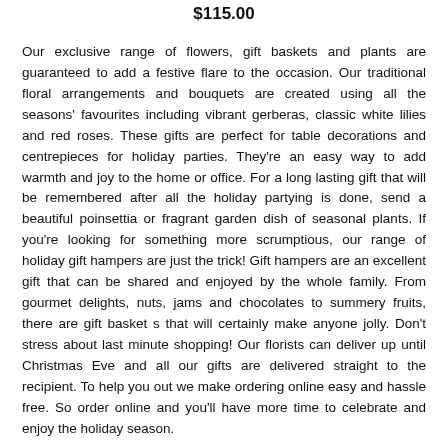$115.00
Our exclusive range of flowers, gift baskets and plants are guaranteed to add a festive flare to the occasion. Our traditional floral arrangements and bouquets are created using all the seasons' favourites including vibrant gerberas, classic white lilies and red roses. These gifts are perfect for table decorations and centrepieces for holiday parties. They're an easy way to add warmth and joy to the home or office. For a long lasting gift that will be remembered after all the holiday partying is done, send a beautiful poinsettia or fragrant garden dish of seasonal plants. If you're looking for something more scrumptious, our range of holiday gift hampers are just the trick! Gift hampers are an excellent gift that can be shared and enjoyed by the whole family. From gourmet delights, nuts, jams and chocolates to summery fruits, there are gift basket s that will certainly make anyone jolly. Don't stress about last minute shopping! Our florists can deliver up until Christmas Eve and all our gifts are delivered straight to the recipient. To help you out we make ordering online easy and hassle free. So order online and you'll have more time to celebrate and enjoy the holiday season.